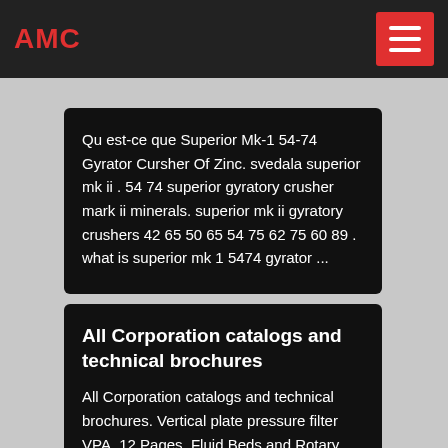AMC
Qu est-ce que Superior Mk-1 54-74 Gyrator Cursher Of Zinc. svedala superior mk ii . 54 74 superior gyratory crusher mark ii minerals. superior mk ii gyratory crushers 42 65 50 65 54 75 62 75 60 89 . what is superior mk 1 5474 gyrator ...
All Corporation catalogs and technical brochures
All Corporation catalogs and technical brochures. Vertical plate pressure filter VPA. 12 Pages. Fluid Beds and Rotary Dryers and Coolers Brochure. 6 Pages